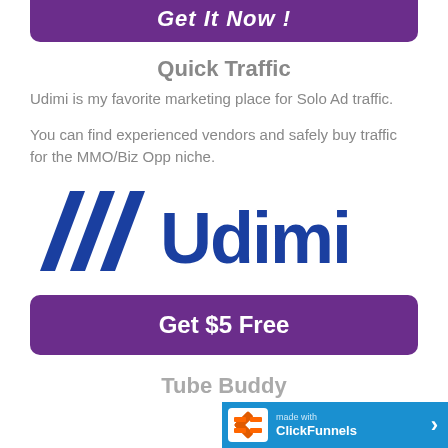[Figure (other): Purple button at top with italic white bold text 'Get It Now !']
Quick Traffic
Udimi is my favorite marketing place for Solo Ad traffic.
You can find experienced vendors and safely buy traffic for the MMO/Biz Opp niche.
[Figure (logo): Udimi logo — blue diagonal stripes icon on left, blue bold 'Udimi' text on right]
[Figure (other): Purple rounded button with white bold text 'Get $5 Free']
Tube Buddy
[Figure (logo): ClickFunnels branding bar at bottom right — blue bar with ClickFunnels logo, 'made with ClickFunnels' text and arrow]